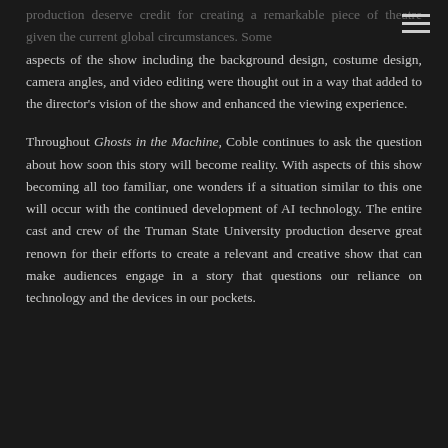production deserve credit for creating a remarkable piece of theatre given the current global circumstances. Some aspects of the show including the background design, costume design, camera angles, and video editing were thought out in a way that added to the director's vision of the show and enhanced the viewing experience.
Throughout Ghosts in the Machine, Coble continues to ask the question about how soon this story will become reality. With aspects of this show becoming all too familiar, one wonders if a situation similar to this one will occur with the continued development of AI technology. The entire cast and crew of the Truman State University production deserve great renown for their efforts to create a relevant and creative show that can make audiences engage in a story that questions our reliance on technology and the devices in our pockets.